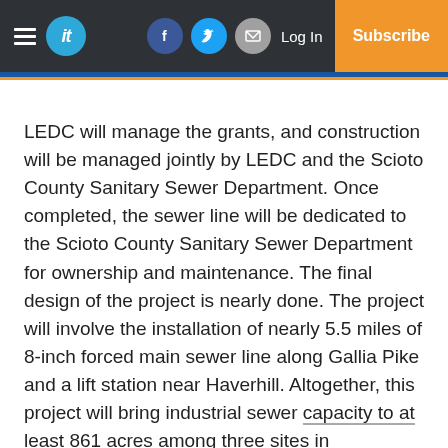it | Log In | Subscribe
LEDC will manage the grants, and construction will be managed jointly by LEDC and the Scioto County Sanitary Sewer Department. Once completed, the sewer line will be dedicated to the Scioto County Sanitary Sewer Department for ownership and maintenance. The final design of the project is nearly done. The project will involve the installation of nearly 5.5 miles of 8-inch forced main sewer line along Gallia Pike and a lift station near Haverhill. Altogether, this project will bring industrial sewer capacity to at least 861 acres among three sites in